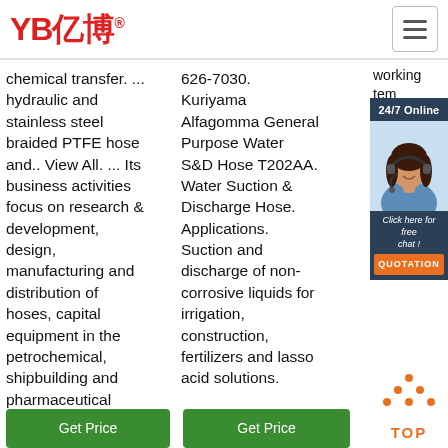[Figure (logo): YB 亿博 logo in red with registered trademark symbol]
[Figure (other): Hamburger menu icon button top right]
chemical transfer. ... hydraulic and stainless steel braided PTFE hose and.. View All. ... Its business activities focus on research & development, design, manufacturing and distribution of hoses, capital equipment in the petrochemical, shipbuilding and pharmaceutical industry. ...
626-7030. Kuriyama Alfagomma General Purpose Water S&D Hose T202AA. Water Suction & Discharge Hose. Applications. Suction and discharge of non-corrosive liquids for irrigation, construction, fertilizers and lasso acid solutions.
working tem... of -...
[Figure (photo): Customer service agent woman with headset, 24/7 Online chat widget with dark blue background]
[Figure (other): TOP scroll-to-top button with orange dots and text]
Get Price
Get Price